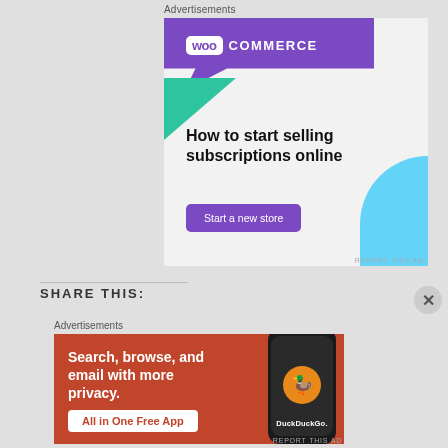Advertisements
[Figure (illustration): WooCommerce advertisement banner: purple background with WooCommerce logo, green triangle shape, blue curved shape, text 'How to start selling subscriptions online', and a 'Start a new store' button.]
REPORT THIS AD
SHARE THIS:
Advertisements
[Figure (illustration): DuckDuckGo advertisement banner: orange-red background with text 'Search, browse, and email with more privacy. All in One Free App', and a smartphone showing the DuckDuckGo logo.]